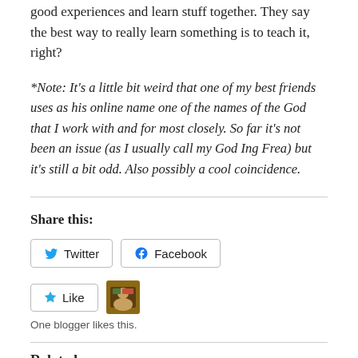good experiences and learn stuff together. They say the best way to really learn something is to teach it, right?
*Note: It's a little bit weird that one of my best friends uses as his online name one of the names of the God that I work with and for most closely. So far it's not been an issue (as I usually call my God Ing Frea) but it's still a bit odd. Also possibly a cool coincidence.
Share this:
Twitter  Facebook
Like  One blogger likes this.
Related